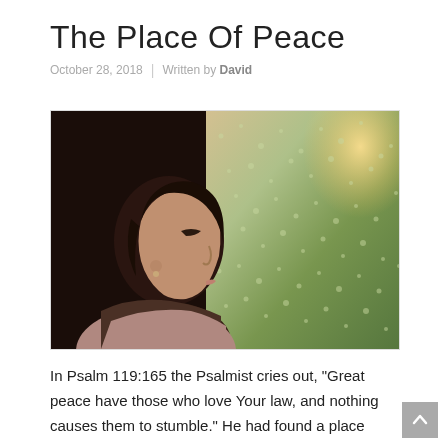The Place Of Peace
October 28, 2018  |  Written by David
[Figure (photo): A woman in profile gazing out a rain-speckled window with colorful autumn reflections; she is wearing a pink/mauve scarf and the scene is softly lit.]
In Psalm 119:165 the Psalmist cries out, “Great peace have those who love Your law, and nothing causes them to stumble.” He had found a place